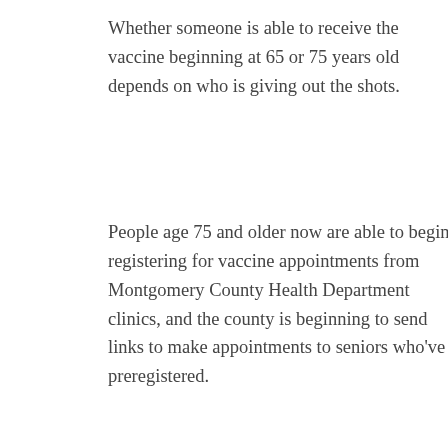Whether someone is able to receive the vaccine beginning at 65 or 75 years old depends on who is giving out the shots.
People age 75 and older now are able to begin registering for vaccine appointments from Montgomery County Health Department clinics, and the county is beginning to send links to make appointments to seniors who've preregistered.
But people age 65 and older may be able to sign up for appointments at other clinics within the county that are made possible through state health department partnerships.
In Montgomery County, four Giant pharmacies are now allowing people to sign up for COVID-19 vaccines.